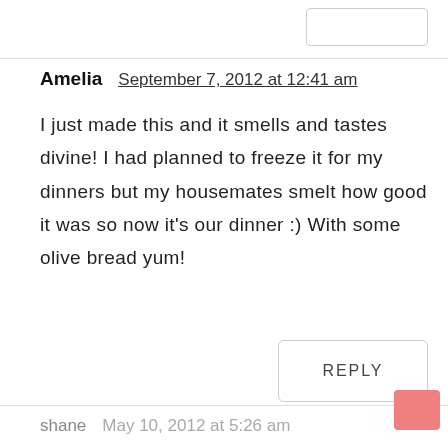Amelia   September 7, 2012 at 12:41 am
I just made this and it smells and tastes divine! I had planned to freeze it for my dinners but my housemates smelt how good it was so now it's our dinner :) With some olive bread yum!
REPLY
shane   May 10, 2012 at 5:26 am